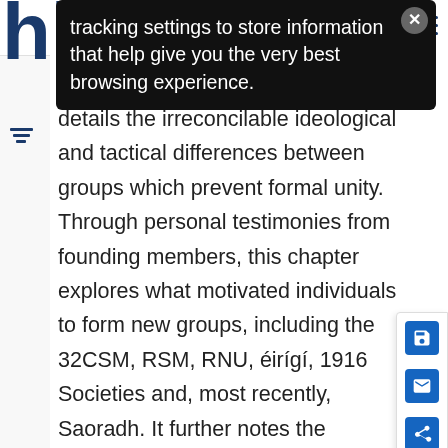[Figure (screenshot): Partial logo showing letters 'hi' in dark blue large font on white background top-left, and hamburger menu icon top-right]
tracking settings to store information that help give you the very best browsing experience.
details the irreconcilable ideological and tactical differences between groups which prevent formal unity. Through personal testimonies from founding members, this chapter explores what motivated individuals to form new groups, including the 32CSM, RSM, RNU, éirígí, 1916 Societies and, most recently, Saoradh. It further notes the emergence of a large body of 'independents' within 'dissident' republicanism. The chapter provides an analysis of the 'Limerick group' which broke fr